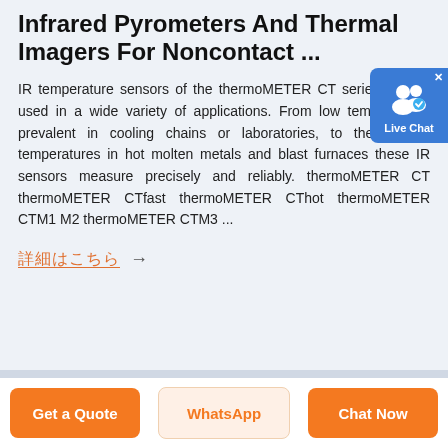Infrared Pyrometers And Thermal Imagers For Noncontact ...
IR temperature sensors of the thermoMETER CT series can be used in a wide variety of applications. From low temperatures prevalent in cooling chains or laboratories, to the highest temperatures in hot molten metals and blast furnaces these IR sensors measure precisely and reliably. thermoMETER CT thermoMETER CTfast thermoMETER CThot thermoMETER CTM1 M2 thermoMETER CTM3 ...
詳細はこちら →
[Figure (screenshot): Live Chat widget button, blue background with white user/chat icon and 'Live Chat' label]
Get a Quote | WhatsApp | Chat Now